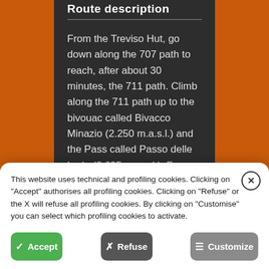Route description
From the Treviso Hut, go down along the 707 path to reach, after about 30 minutes, the 711 path. Climb along the 711 path up to the bivouac called Bivacco Minazio (2.250 m.a.s.l.) and the Pass called Passo delle Lede (2.695 m.a.s.l.). From the Pass
This website uses technical and profiling cookies. Clicking on "Accept" authorises all profiling cookies. Clicking on "Refuse" or the X will refuse all profiling cookies. By clicking on "Customise" you can select which profiling cookies to activate.
Accept
Refuse
Customize